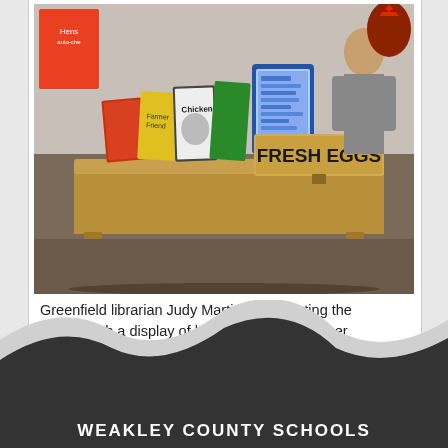[Figure (photo): A library display table with books about chickens and eggs, a 'FRESH EGGS' wooden sign, and a tablet device. Books are propped up on stands. A person stands in the background.]
Greenfield librarian Judy Martin is supporting the project with a display of books that offers further reading on the subject.
WEAKLEY COUNTY SCHOOLS